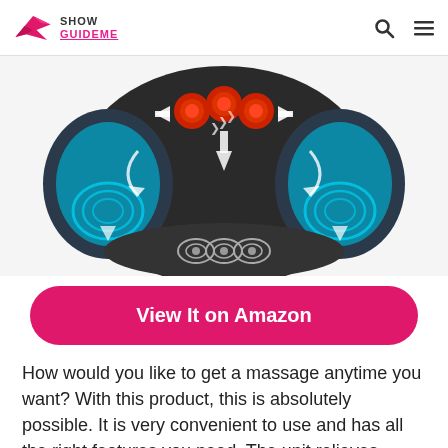Show GuideMe
[Figure (photo): A back and neck massager cushion with shiatsu massage balls (red), shown from the front. Blue wave graphics and white arrows indicate massage movements including kneading and vibration zones.]
View It on Amazon
How would you like to get a massage anytime you want? With this product, this is absolutely possible. It is very convenient to use and has all the right features you need. The unit relieves tension and gives you the indulgence you seek. This is an outstanding massager for your back, neck, shoulders and hips.